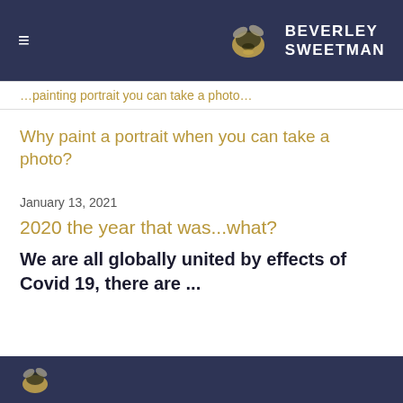BEVERLEY SWEETMAN
…painting portrait you can take a photo…
Why paint a portrait when you can take a photo?
January 13, 2021
2020 the year that was...what?
We are all globally united by effects of Covid 19, there are ...